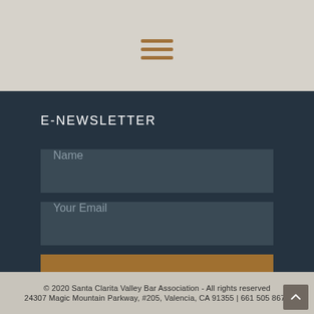[Figure (other): Hamburger menu icon with three horizontal brown lines on light gray background]
E-NEWSLETTER
Name
Your Email
SUBSCRIBE
© 2020 Santa Clarita Valley Bar Association - All rights reserved
24307 Magic Mountain Parkway, #205, Valencia, CA 91355 | 661 505 8670